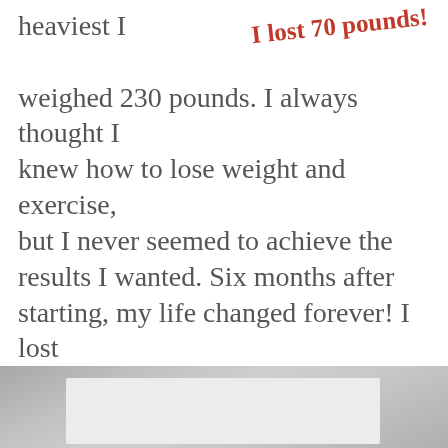heaviest I weighed 230 pounds. I always thought I knew how to lose weight and exercise, but I never seemed to achieve the results I wanted. Six months after starting, my life changed forever! I lost 70 pounds during my training and went from a size 20 to a size 7!
[Figure (photo): Handwritten red annotation reading 'I lost 70 pounds!' overlaid on the text area]
[Figure (photo): Partial photo at the bottom of the page showing a gray/neutral background with a white rectangular element partially visible]